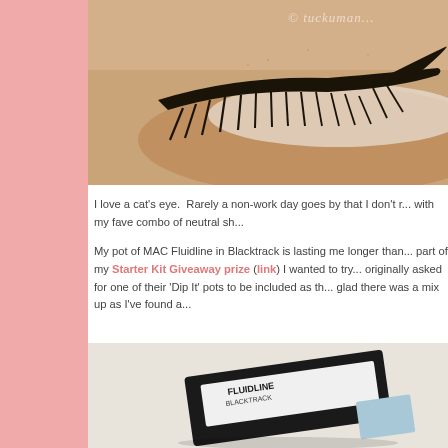[Figure (photo): Close-up photo of a closed eye with dramatic cat-eye black eyeliner and long dark lashes on medium skin tone. White/light eyeshadow visible on lid. Watermark text partially visible in top right corner.]
I love a cat's eye.  Rarely a non-work day goes by that I don't r... with my fave combo of neutral sh...
My pot of MAC Fluidline in Blacktrack is lasting me longer than... part of my Starter Kit Giveaway prize (link) I wanted to try... originally asked for one of their 'Dip It' pots to be included as th... glad there was a mix up as I've found a...
[Figure (photo): Close-up photo of MAC Fluidline product in Blacktrack, showing the black product container with label visible at an angle.]